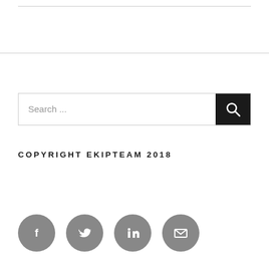[Figure (other): Search bar with text 'Search ...' and a dark search button with magnifying glass icon]
COPYRIGHT EKIPTEAM 2018
[Figure (other): Row of four social media icon circles: Facebook, Twitter, LinkedIn, Email]